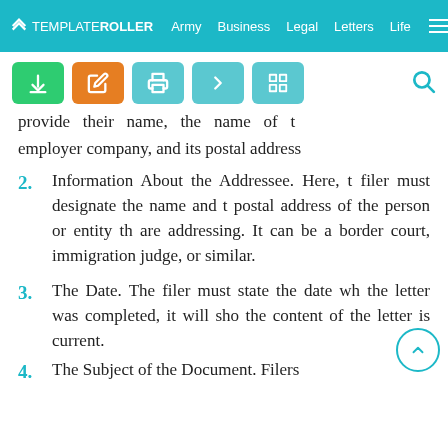TEMPLATEROLLER  Army  Business  Legal  Letters  Life
provide their name, the name of their employer company, and its postal address
2. Information About the Addressee. Here, the filer must designate the name and the postal address of the person or entity they are addressing. It can be a border court, an immigration judge, or similar.
3. The Date. The filer must state the date when the letter was completed, it will show when the content of the letter is current.
4. The Subject of the Document. Filers...